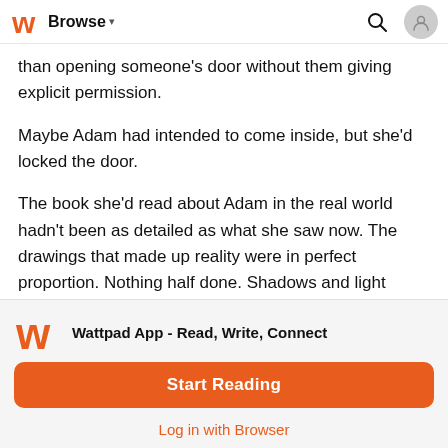Browse
than opening someone's door without them giving explicit permission.
Maybe Adam had intended to come inside, but she'd locked the door.
The book she'd read about Adam in the real world hadn't been as detailed as what she saw now. The drawings that made up reality were in perfect proportion. Nothing half done. Shadows and light moved naturally. Even colors completed in her eyes, though when she really looked at something, the lines were black and white.
Wattpad App - Read, Write, Connect
Start Reading
Log in with Browser